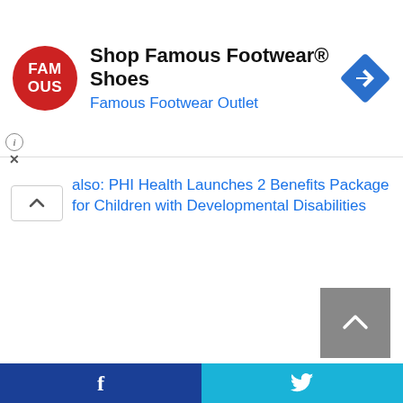[Figure (screenshot): Advertisement banner for Famous Footwear with red circular logo showing FAM OUS text, ad title 'Shop Famous Footwear® Shoes', subtitle 'Famous Footwear Outlet', and a blue navigation/direction diamond icon on the right. Info (i) and X close icons below-left.]
also: PHI Health Launches 2 Benefits Package for Children with Developmental Disabilities
[Figure (screenshot): Scroll-to-top button (grey square with upward chevron arrow) in bottom-right area]
[Figure (screenshot): Bottom social sharing bar with Facebook (dark blue, f icon) and Twitter (cyan, bird icon) buttons]